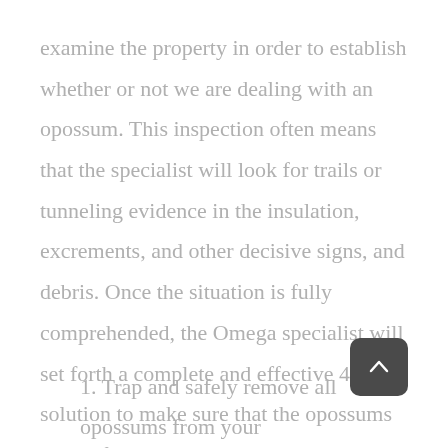examine the property in order to establish whether or not we are dealing with an opossum. This inspection often means that the specialist will look for trails or tunneling evidence in the insulation, excrements, and other decisive signs, and debris. Once the situation is fully comprehended, the Omega specialist will set forth a complete and effective 4-step solution to make sure that the opossums do not find their way back inside your home in the future.
1. Trap and safely remove all opossums from your